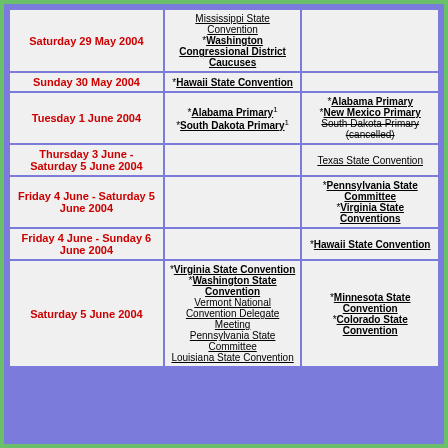| Date | Democratic | Republican |
| --- | --- | --- |
| Saturday 29 May 2004 | Mississippi State Convention
*Washington Congressional District Caucuses |  |
| Sunday 30 May 2004 | *Hawaii State Convention |  |
| Tuesday 1 June 2004 | *Alabama Primary1
*South Dakota Primary1 | *Alabama Primary
*New Mexico Primary
South Dakota Primary (cancelled) |
| Thursday 3 June - Saturday 5 June 2004 |  | Texas State Convention |
| Friday 4 June - Saturday 5 June 2004 |  | *Pennsylvania State Committee
*Virginia State Conventions |
| Friday 4 June - Sunday 6 June 2004 |  | *Hawaii State Convention |
| Saturday 5 June 2004 | *Virginia State Convention
*Washington State Convention
Vermont National Convention Delegate Meeting
Pennsylvania State Committee
Louisiana State Convention | *Minnesota State Convention
*Colorado State Convention |